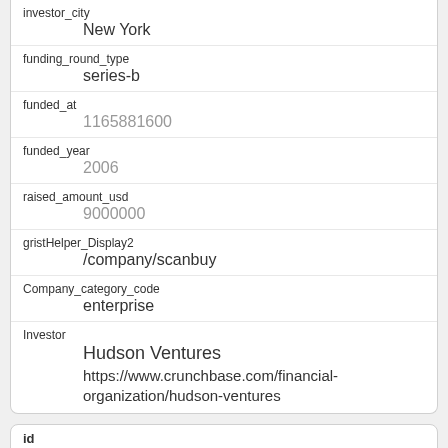| Field | Value |
| --- | --- |
| investor_city | New York |
| funding_round_type | series-b |
| funded_at | 1165881600 |
| funded_year | 2006 |
| raised_amount_usd | 9000000 |
| gristHelper_Display2 | /company/scanbuy |
| Company_category_code | enterprise |
| Investor | Hudson Ventures
https://www.crunchbase.com/financial-organization/hudson-ventures |
| Field | Value |
| --- | --- |
| id | 2578 |